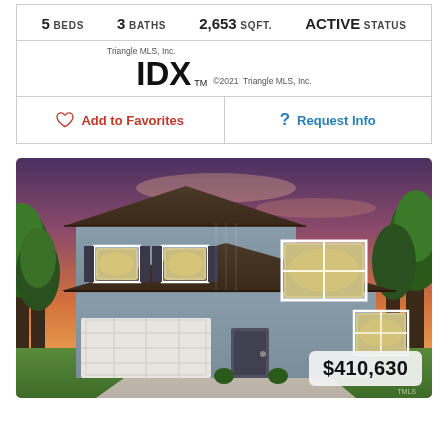5 BEDS   3 BATHS   2,653 SQFT.   ACTIVE STATUS
[Figure (logo): Triangle MLS, Inc. IDX logo with TM mark and copyright 2021 Triangle MLS, Inc.]
Add to Favorites
Request Info
[Figure (photo): Two-story gray house with dark roof, white garage door, sunset sky background, price badge showing $410,630]